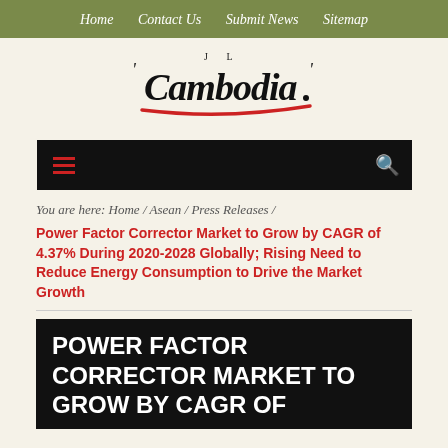Home / Contact Us / Submit News / Sitemap
[Figure (logo): Cambodia news logo with stylized handwritten text and red underline]
[Figure (screenshot): Black navigation bar with red hamburger menu icon on left and white search icon on right]
You are here: Home / Asean / Press Releases /
Power Factor Corrector Market to Grow by CAGR of 4.37% During 2020-2028 Globally; Rising Need to Reduce Energy Consumption to Drive the Market Growth
[Figure (infographic): Black banner with white bold uppercase text reading: POWER FACTOR CORRECTOR MARKET TO GROW BY CAGR OF]